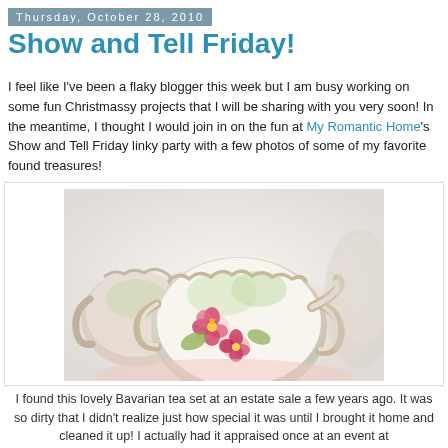Thursday, October 28, 2010
Show and Tell Friday!
I feel like I've been a flaky blogger this week but I am busy working on some fun Christmassy projects that I will be sharing with you very soon!  In the meantime, I thought I would join in on the fun at My Romantic Home's Show and Tell Friday linky party with a few photos of some of my favorite found treasures!
[Figure (photo): A lovely Bavarian porcelain tea set with floral pink decorations and ornate handles, photographed at close range showing cream and green colors with pink flower motifs.]
I found this lovely Bavarian tea set at an estate sale a few years ago.  It was so dirty that I didn't realize just how special it was until I brought it home and cleaned it up!  I actually had it appraised once at an event at